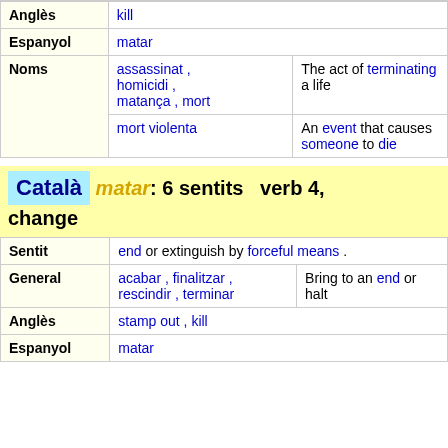| Anglès | kill |  |
| Espanyol | matar |  |
| Noms | assassinat , homicidi , matança , mort | The act of terminating a life |
|  | mort violenta | An event that causes someone to die |
Català   matar: 6 sentits   verb 4, change
| Sentit | end or extinguish by forceful means . |  |
| General | acabar , finalitzar , rescindir , terminar | Bring to an end or halt |
| Anglès | stamp out , kill |  |
| Espanyol | matar |  |